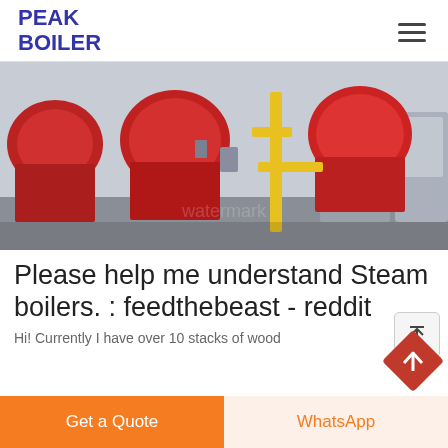PEAK BOILER
[Figure (photo): Industrial steam boilers in a boiler room, showing red burners and yellow gas pipes on a grey floor.]
Please help me understand Steam boilers. : feedthebeast - reddit
Hi! Currently I have over 10 stacks of wood